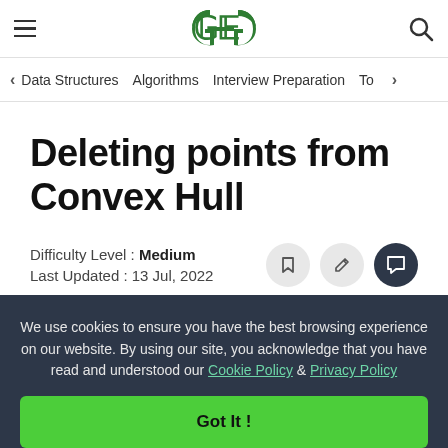GeeksforGeeks — Data Structures | Algorithms | Interview Preparation | To...
Deleting points from Convex Hull
Difficulty Level : Medium
Last Updated : 13 Jul, 2022
We use cookies to ensure you have the best browsing experience on our website. By using our site, you acknowledge that you have read and understood our Cookie Policy & Privacy Policy
Got It !